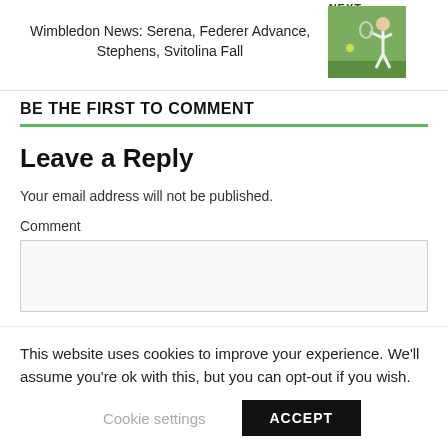Wimbledon News: Serena, Federer Advance, Stephens, Svitolina Fall
[Figure (photo): Tennis player in action on a grass court]
BE THE FIRST TO COMMENT
Leave a Reply
Your email address will not be published.
Comment
This website uses cookies to improve your experience. We'll assume you're ok with this, but you can opt-out if you wish.
Cookie settings  ACCEPT